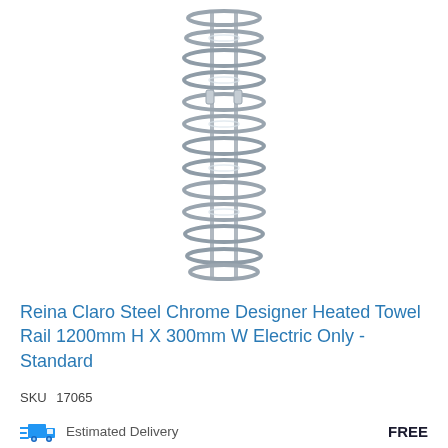[Figure (photo): A chrome spiral/coil-style heated towel rail with multiple horizontal tube rings arranged vertically, photographed on white background]
Reina Claro Steel Chrome Designer Heated Towel Rail 1200mm H X 300mm W Electric Only - Standard
SKU  17065
Estimated Delivery
FREE